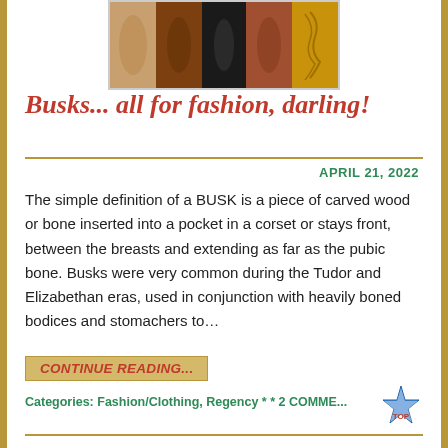[Figure (photo): Five decorative busks shown side by side — carved wooden and bone pieces in various colors: tan, brown, dark/black, reddish-brown, and amber/yellow, each with ornate surface decoration]
Busks... all for fashion, darling!
APRIL 21, 2022
The simple definition of a BUSK is a piece of carved wood or bone inserted into a pocket in a corset or stays front, between the breasts and extending as far as the pubic bone. Busks were very common during the Tudor and Elizabethan eras, used in conjunction with heavily boned bodices and stomachers to…
CONTINUE READING...
Categories: Fashion/Clothing, Regency * * 2 COMME...